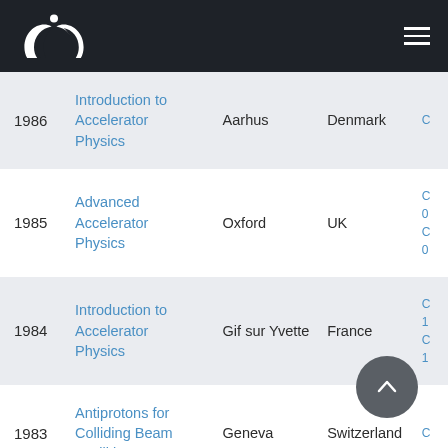CAS logo and navigation
| Year | Title | City | Country | Links |
| --- | --- | --- | --- | --- |
| 1986 | Introduction to Accelerator Physics | Aarhus | Denmark | C |
| 1985 | Advanced Accelerator Physics | Oxford | UK | C 0 C 0 |
| 1984 | Introduction to Accelerator Physics | Gif sur Yvette | France | C 1 C 1 |
| 1983 | Antiprotons for Colliding Beam Facilities | Geneva | Switzerland | C |